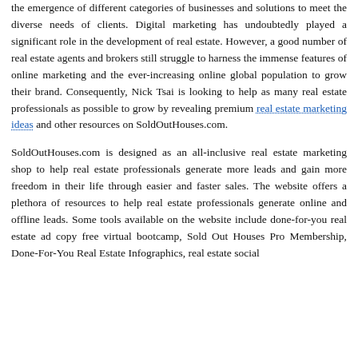the emergence of different categories of businesses and solutions to meet the diverse needs of clients. Digital marketing has undoubtedly played a significant role in the development of real estate. However, a good number of real estate agents and brokers still struggle to harness the immense features of online marketing and the ever-increasing online global population to grow their brand. Consequently, Nick Tsai is looking to help as many real estate professionals as possible to grow by revealing premium real estate marketing ideas and other resources on SoldOutHouses.com.
SoldOutHouses.com is designed as an all-inclusive real estate marketing shop to help real estate professionals generate more leads and gain more freedom in their life through easier and faster sales. The website offers a plethora of resources to help real estate professionals generate online and offline leads. Some tools available on the website include done-for-you real estate ad copy free virtual bootcamp, Sold Out Houses Pro Membership, Done-For-You Real Estate Infographics, real estate social